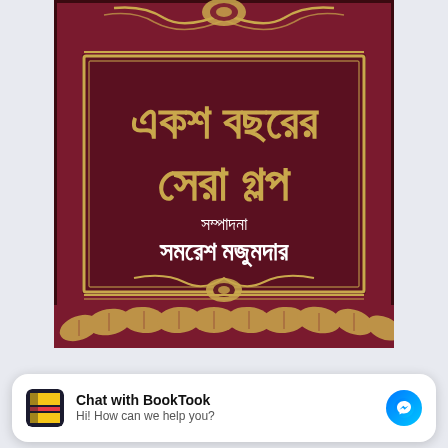[Figure (photo): Book cover with dark maroon/burgundy background. Title in large golden Bengali script reads 'একশ বছরের সেরা গল্প' (One Hundred Years' Best Stories). Below the title in smaller white Bengali text: 'সম্পাদনা' (Edited by) and 'সমরেশ মজুমদার' (Samaresh Majumdar). Decorative golden ornamental border and floral patterns surround the text. Bottom of cover has golden leaf decorations.]
Chat with BookTook
Hi! How can we help you?